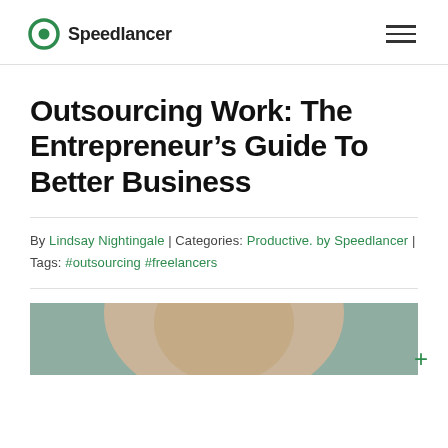Speedlancer
Outsourcing Work: The Entrepreneur’s Guide To Better Business
By Lindsay Nightingale | Categories: Productive. by Speedlancer | Tags: #outsourcing #freelancers
[Figure (photo): Partial photo of a person wearing a tan/caramel sweater, visible from the shoulders up, cropped at the bottom of the page.]